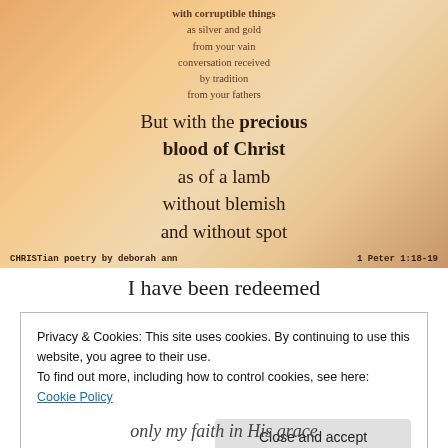[Figure (photo): Religious image with Bible verse overlay on warm orange/gold background showing text from 1 Peter 1:18-19 about redemption through the precious blood of Christ, with credit to CHRISTian poetry by deborah ann]
I have been redeemed
Privacy & Cookies: This site uses cookies. By continuing to use this website, you agree to their use.
To find out more, including how to control cookies, see here: Cookie Policy
[Close and accept]
only my faith in His grace